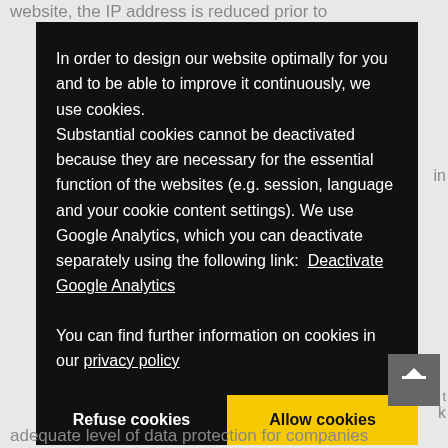website, the IP address is reduced prior to
In order to design our website optimally for you and to be able to improve it continuously, we use cookies. Substantial cookies cannot be deactivated because they are necessary for the essential function of the websites (e.g. session, language and your cookie content settings). We use Google Analytics, which you can deactivate separately using the following link:  Deactivate Google Analytics

You can find further information on cookies in our privacy policy
Refuse cookies
Allow cookies
adequate level of data protection for companies